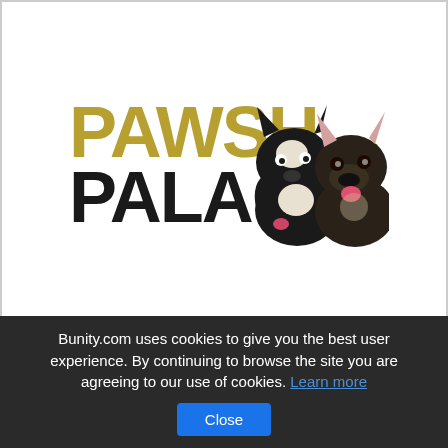[Figure (logo): Pawsh Palace logo with text 'PAWSH PALACE' in gold and black serif font, accompanied by two French bulldogs on the right side]
Bunity.com uses cookies to give you the best user experience. By continuing to browse the site you are agreeing to our use of cookies. Learn more
Close